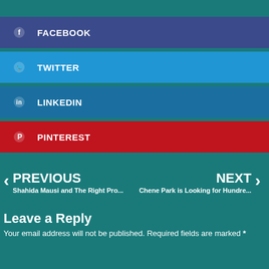FACEBOOK
TWITTER
LINKEDIN
PINTEREST
PREVIOUS — Shahida Mausi and The Right Pro...
NEXT — Chene Park is Looking for Hundre...
Leave a Reply
Your email address will not be published. Required fields are marked *